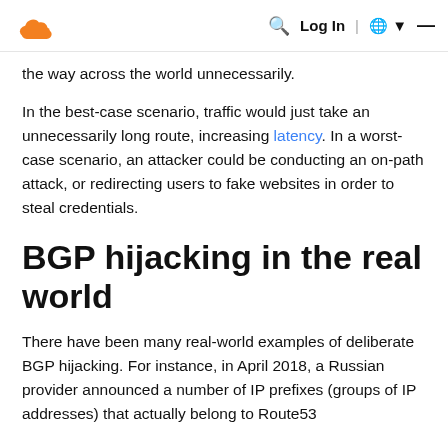Cloudflare logo | Search | Log In | Globe | Menu
the way across the world unnecessarily.
In the best-case scenario, traffic would just take an unnecessarily long route, increasing latency. In a worst-case scenario, an attacker could be conducting an on-path attack, or redirecting users to fake websites in order to steal credentials.
BGP hijacking in the real world
There have been many real-world examples of deliberate BGP hijacking. For instance, in April 2018, a Russian provider announced a number of IP prefixes (groups of IP addresses) that actually belong to Route53